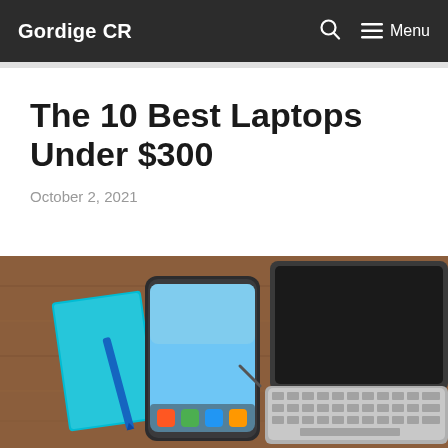Gordige CR  🔍  ☰ Menu
The 10 Best Laptops Under $300
October 2, 2021
[Figure (photo): Top-down view of a laptop and smartphone on a wooden desk, with a teal notebook and pen also visible.]